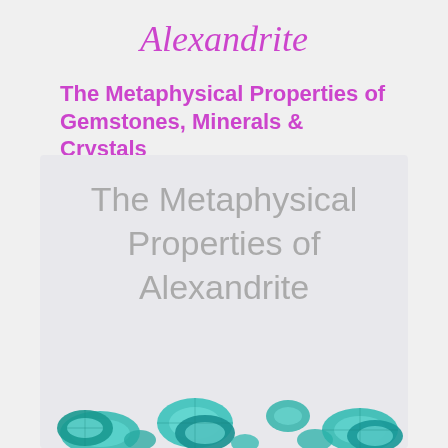Alexandrite
The Metaphysical Properties of Gemstones, Minerals & Crystals
[Figure (illustration): Book cover with light gray background showing the text 'The Metaphysical Properties of Alexandrite' in large gray light font, with teal/blue-green faceted gemstones (alexandrite crystals) arranged along the bottom edge of the cover.]